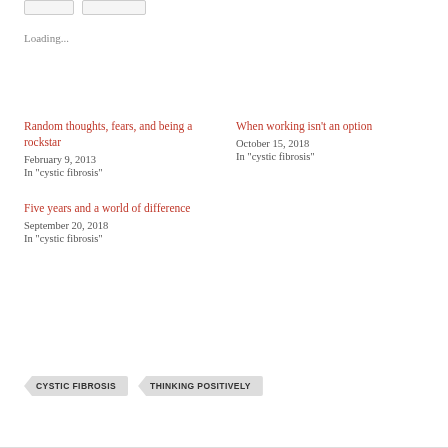Loading...
Random thoughts, fears, and being a rockstar
February 9, 2013
In "cystic fibrosis"
When working isn't an option
October 15, 2018
In "cystic fibrosis"
Five years and a world of difference
September 20, 2018
In "cystic fibrosis"
CYSTIC FIBROSIS
THINKING POSITIVELY